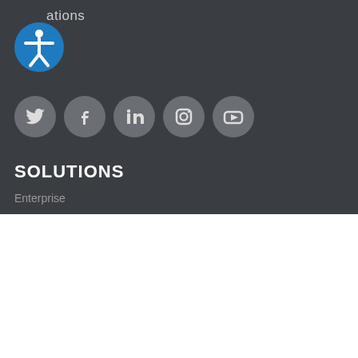...ations
[Figure (illustration): Accessibility icon (blue circle with white person figure) and 5 social media icons (Twitter, Facebook, LinkedIn, Instagram, YouTube) as grey circles]
SOLUTIONS
Enterprise
This website stores cookies on your computer. These cookies are used to improve your website experience and provide more personalized services to you, both on this website and through other media. To find out more about the cookies we use, see our Privacy Policy.
Disclaimer: In order to comply with your preferences, we'll have to use just one cookie so that you're not asked to make this choice again.
Cookie Settings  Accept  Decline